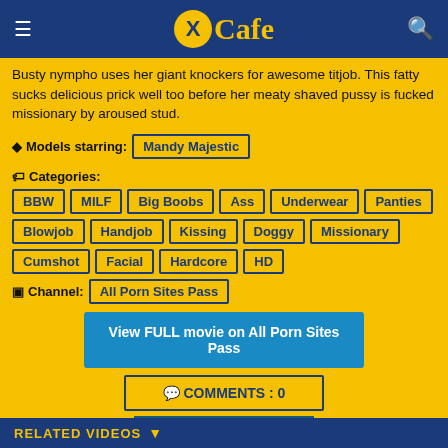XCafe
Busty nympho uses her giant knockers for awesome titjob. This fatty sucks delicious prick well too before her meaty shaved pussy is fucked missionary by aroused stud.
Models starring: Mandy Majestic
Categories: BBW MILF Big Boobs Ass Underwear Panties Blowjob Handjob Kissing Doggy Missionary Cumshot Facial Hardcore HD
Channel: All Porn Sites Pass
View FULL movie on All Porn Sites Pass
COMMENTS : 0
ADS BY YOURLUSTMEDIA
Advertisement
RELATED VIDEOS